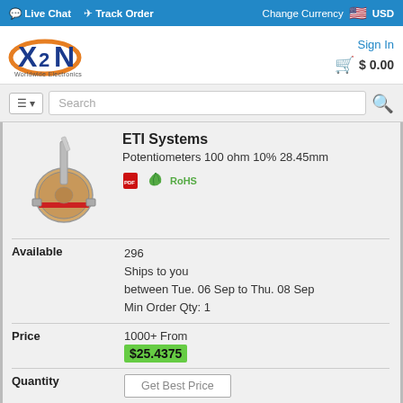💬 Live Chat  ✈ Track Order  |  Change Currency  USD
[Figure (logo): X2N Worldwide Electronics logo with orange and blue design]
Sign In  🛒 $ 0.00
Search
[Figure (photo): Potentiometer component photo - silver metal shaft with round body]
ETI Systems
Potentiometers 100 ohm 10% 28.45mm
[PDF icon] [RoHS badge]
| Field | Value |
| --- | --- |
| Available | 296
Ships to you
between Tue. 06 Sep to Thu. 08 Sep
Min Order Qty: 1 |
| Price | 1000+ From
$25.4375 |
| Quantity | Get Best Price
Multiples of: 1 |
RV6LAYSA103A